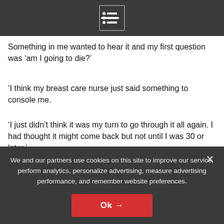[Navigation menu icon]
Something in me wanted to hear it and my first question was ‘am I going to die?’
‘I think my breast care nurse just said something to console me.
‘I just didn’t think it was my turn to go through it all again. I had thought it might come back but not until I was 30 or later.’
[Figure (photo): Partial view of a person with brown hair outdoors among green foliage]
We and our partners use cookies on this site to improve our service, perform analytics, personalize advertising, measure advertising performance, and remember website preferences.
Ok →